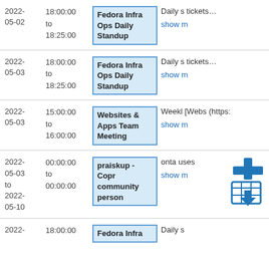| Date | Time | Event | Description |
| --- | --- | --- | --- |
| 2022-05-02 | 18:00:00 to 18:25:00 | Fedora Infra Ops Daily Standup | Daily s tickets
show m |
| 2022-05-03 | 18:00:00 to 18:25:00 | Fedora Infra Ops Daily Standup | Daily s tickets
show m |
| 2022-05-03 | 15:00:00 to 16:00:00 | Websites & Apps Team Meeting | Weekl [Webs (https:
show m |
| 2022-05-03 to 2022-05-10 | 00:00:00 to 00:00:00 | praiskup - Copr community person | onta uses
show m |
| 2022- | 18:00:00 | Fedora Infra | Daily s |